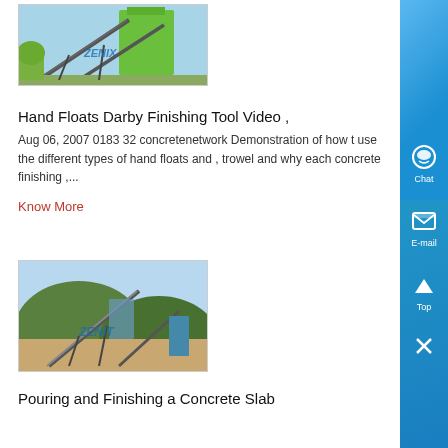[Figure (photo): Industrial conveyor/plant equipment with green structure, branded ZENITH]
Hand Floats Darby Finishing Tool Video ,
Aug 06, 2007 0183 32 concretenetwork Demonstration of how to use the different types of hand floats and , trowel and why each concrete finishing ,...
Know More
[Figure (photo): Construction/quarry site with equipment and conveyor belts, branded ZENITH]
Pouring and Finishing a Concrete Slab